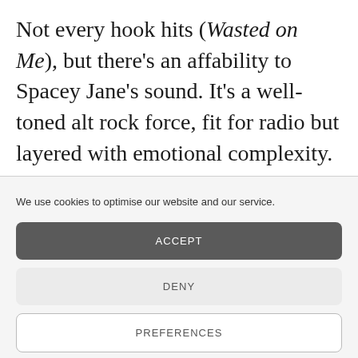Not every hook hits (Wasted on Me), but there's an affability to Spacey Jane's sound. It's a well-toned alt rock force, fit for radio but layered with emotional complexity. Sunlight isn't the most unusual album you'll
We use cookies to optimise our website and our service.
ACCEPT
DENY
PREFERENCES